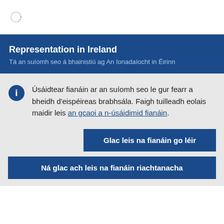Representation in Ireland
Tá an suíomh seo á bhainistiú ag An Ionadaíocht in Éirinn
Úsáidtear fianáin ar an suíomh seo le gur fearr a bheidh d'eispéireas brabhsála. Faigh tuilleadh eolais maidir leis an gcaoi a n-úsáidimid fianáin.
Glac leis na fianáin go léir
Ná glac ach leis na fianáin riachtanacha